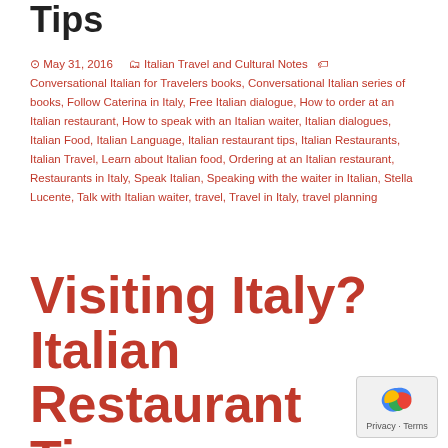Tips
May 31, 2016   Italian Travel and Cultural Notes   Conversational Italian for Travelers books, Conversational Italian series of books, Follow Caterina in Italy, Free Italian dialogue, How to order at an Italian restaurant, How to speak with an Italian waiter, Italian dialogues, Italian Food, Italian Language, Italian restaurant tips, Italian Restaurants, Italian Travel, Learn about Italian food, Ordering at an Italian restaurant, Restaurants in Italy, Speak Italian, Speaking with the waiter in Italian, Stella Lucente, Talk with Italian waiter, travel, Travel in Italy, travel planning
Visiting Italy? Italian Restaurant Tips